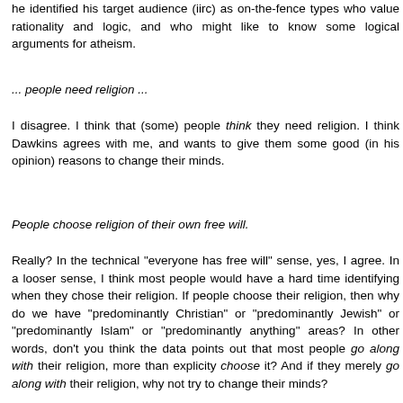he identified his target audience (iirc) as on-the-fence types who value rationality and logic, and who might like to know some logical arguments for atheism.
... people need religion ...
I disagree. I think that (some) people think they need religion. I think Dawkins agrees with me, and wants to give them some good (in his opinion) reasons to change their minds.
People choose religion of their own free will.
Really? In the technical "everyone has free will" sense, yes, I agree. In a looser sense, I think most people would have a hard time identifying when they chose their religion. If people choose their religion, then why do we have "predominantly Christian" or "predominantly Jewish" or "predominantly Islam" or "predominantly anything" areas? In other words, don't you think the data points out that most people go along with their religion, more than explicity choose it? And if they merely go along with their religion, why not try to change their minds?